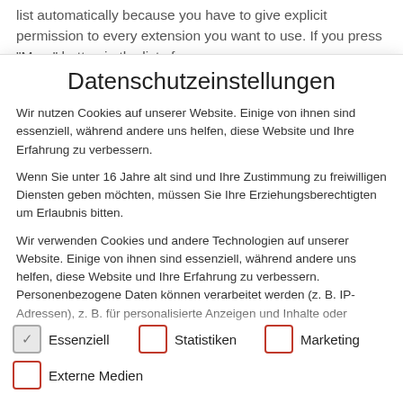list automatically because you have to give explicit permission to every extension you want to use. If you press "More" button in the list of
Datenschutzeinstellungen
Wir nutzen Cookies auf unserer Website. Einige von ihnen sind essenziell, während andere uns helfen, diese Website und Ihre Erfahrung zu verbessern.
Wenn Sie unter 16 Jahre alt sind und Ihre Zustimmung zu freiwilligen Diensten geben möchten, müssen Sie Ihre Erziehungsberechtigten um Erlaubnis bitten.
Wir verwenden Cookies und andere Technologien auf unserer Website. Einige von ihnen sind essenziell, während andere uns helfen, diese Website und Ihre Erfahrung zu verbessern. Personenbezogene Daten können verarbeitet werden (z. B. IP-Adressen), z. B. für personalisierte Anzeigen und Inhalte oder
Essenziell
Statistiken
Marketing
Externe Medien